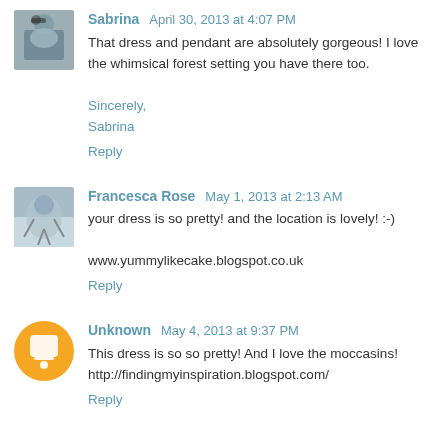Sabrina April 30, 2013 at 4:07 PM
That dress and pendant are absolutely gorgeous! I love the whimsical forest setting you have there too.

Sincerely,
Sabrina
Reply
Francesca Rose May 1, 2013 at 2:13 AM
your dress is so pretty! and the location is lovely! :-)

www.yummylikecake.blogspot.co.uk
Reply
Unknown May 4, 2013 at 9:37 PM
This dress is so so pretty! And I love the moccasins!
http://findingmyinspiration.blogspot.com/
Reply